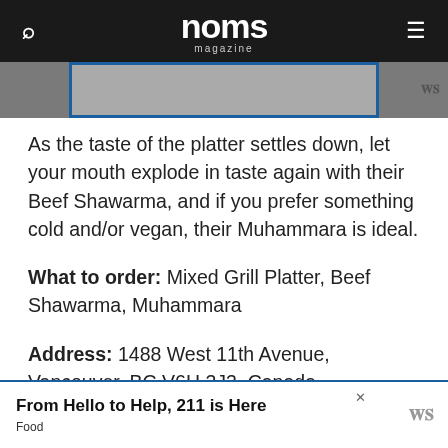noms magazine
[Figure (photo): Partial food photo visible behind blue-bordered image frame, with advertisement logo to the right]
As the taste of the platter settles down, let your mouth explode in taste again with their Beef Shawarma, and if you prefer something cold and/or vegan, their Muhammara is ideal.
What to order: Mixed Grill Platter, Beef Shawarma, Muhammara
Address: 1488 West 11th Avenue, Vancouver, BC V6H 3J3, Canada
From Hello to Help, 211 is Here — Food